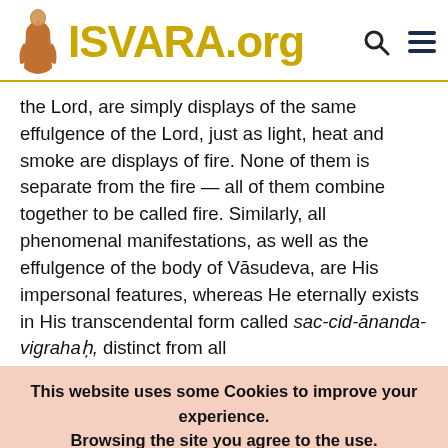ISVARA.org
the Lord, are simply displays of the same effulgence of the Lord, just as light, heat and smoke are displays of fire. None of them is separate from the fire — all of them combine together to be called fire. Similarly, all phenomenal manifestations, as well as the effulgence of the body of Vāsudeva, are His impersonal features, whereas He eternally exists in His transcendental form called sac-cid-ānanda-vigrahaḥ, distinct from all
This website uses some Cookies to improve your experience. Browsing the site you agree to the use. Questo sito utilizza alcuni Cookie di supporto per una migliore esperienza di navigazione. Navigando sul sito ne accetti l'uso.
Read More  OK Close  Cookie Settings
English